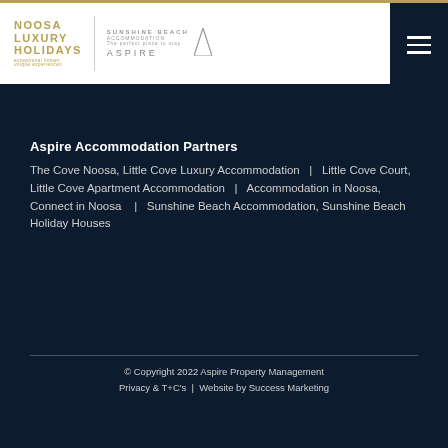[Figure (logo): Noosa Luxury Holidays logo and Sunshine Beach Accommodation / Aspire Property Management logo side by side in white header bar]
Aspire Accommodation Partners
The Cove Noosa, Little Cove Luxury Accommodation  |  Little Cove Court, Little Cove Apartment Accommodation  |  Accommodation in Noosa, Connect in Noosa   |  Sunshine Beach Accommodation, Sunshine Beach Holiday Houses
© Copyright 2022 Aspire Property Management
Privacy & T+C's | Website by Success Marketing